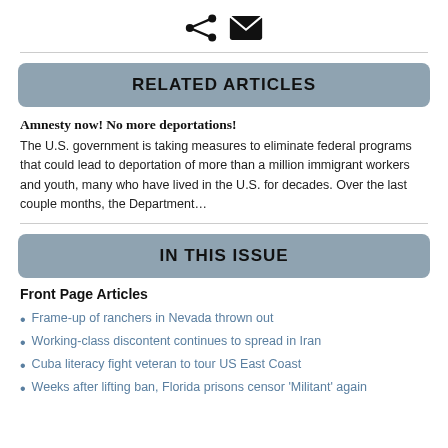[Figure (other): Share icon and email/envelope icon centered at top of page]
RELATED ARTICLES
Amnesty now! No more deportations!
The U.S. government is taking measures to eliminate federal programs that could lead to deportation of more than a million immigrant workers and youth, many who have lived in the U.S. for decades. Over the last couple months, the Department...
IN THIS ISSUE
Front Page Articles
Frame-up of ranchers in Nevada thrown out
Working-class discontent continues to spread in Iran
Cuba literacy fight veteran to tour US East Coast
Weeks after lifting ban, Florida prisons censor 'Militant' again